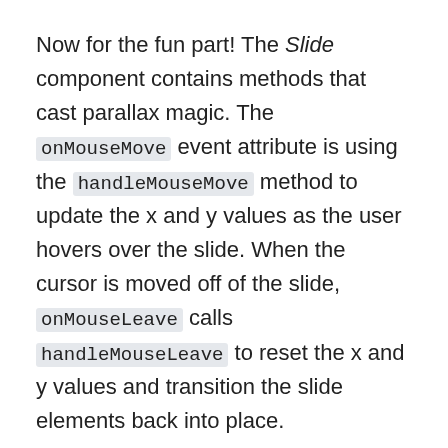Now for the fun part! The Slide component contains methods that cast parallax magic. The onMouseMove event attribute is using the handleMouseMove method to update the x and y values as the user hovers over the slide. When the cursor is moved off of the slide, onMouseLeave calls handleMouseLeave to reset the x and y values and transition the slide elements back into place.
The x and y coordinates are calculated by finding the user's cursor in the viewport and where it's hovering in relation to the center of